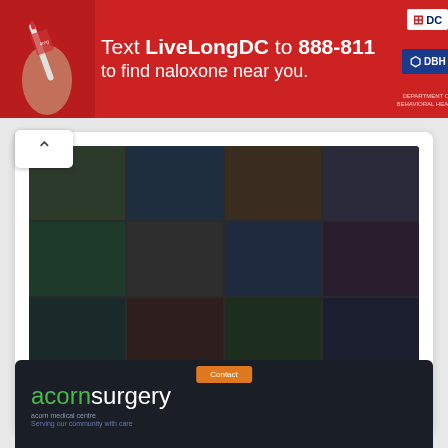[Figure (screenshot): Red banner advertisement: 'Text LiveLongDC to 888-811 to find naloxone near you.' with DC and DBH logos on the right side.]
[Figure (screenshot): Dark screenshot showing a grid of colored tiles/app icons, with a white dialog overlay at the bottom.]
www poolhost com login
https://acornsurgery.com/contact/
Email: acorn.enquiries@nhs.net (Non Urgent, Administrative issues only. Please do not email us with any medical enquiries.
[Figure (screenshot): Screenshot of acornsurgery.com website showing dark header with 'acornsurgery' logo text in green and white.]